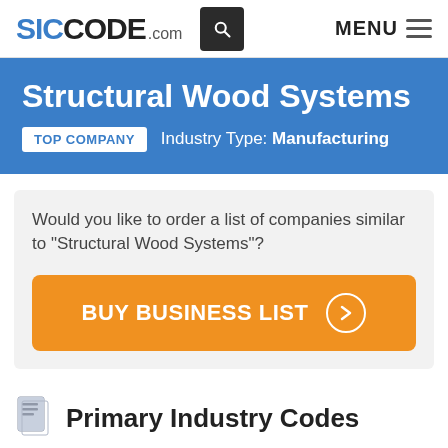SICCODE.com
Structural Wood Systems
TOP COMPANY   Industry Type: Manufacturing
Would you like to order a list of companies similar to "Structural Wood Systems"?
BUY BUSINESS LIST
Primary Industry Codes